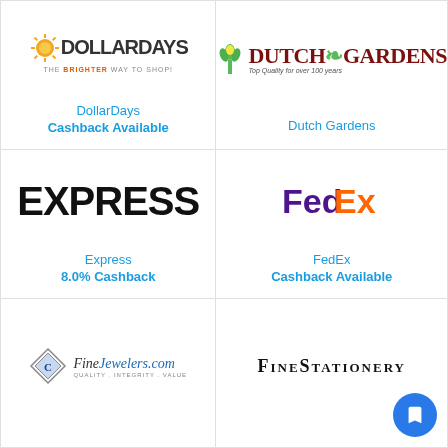[Figure (logo): DollarDays - The Brighter Way to Shop! logo with sun icon]
DollarDays
Cashback Available
[Figure (logo): Dutch Gardens - Top Quality for over 100 years logo with tulip icon]
Dutch Gardens
[Figure (logo): EXPRESS logo in large bold black text]
Express
8.0% Cashback
FedEx
Cashback Available
[Figure (logo): FineJewelers.com logo with diamond icon and text Quality, Integrity, Value]
[Figure (logo): FineStationery logo in serif small-caps text]